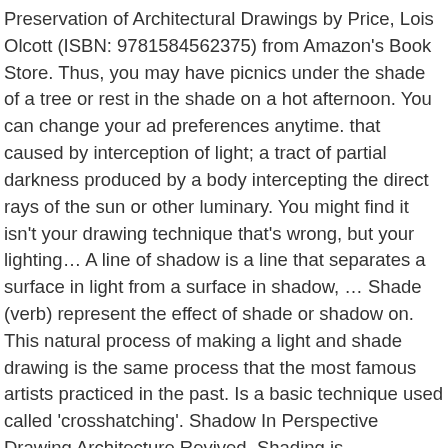Preservation of Architectural Drawings by Price, Lois Olcott (ISBN: 9781584562375) from Amazon's Book Store. Thus, you may have picnics under the shade of a tree or rest in the shade on a hot afternoon. You can change your ad preferences anytime. that caused by interception of light; a tract of partial darkness produced by a body intercepting the direct rays of the sun or other luminary. You might find it isn't your drawing technique that's wrong, but your lighting… A line of shadow is a line that separates a surface in light from a surface in shadow, … Shade (verb) represent the effect of shade or shadow on. This natural process of making a light and shade drawing is the same process that the most famous artists practiced in the past. Is a basic technique used called 'crosshatching'. Shadow In Perspective Drawing Architecture Revived. Shading is